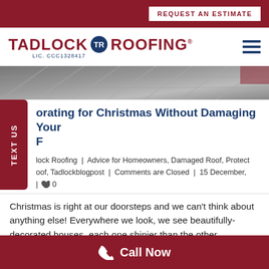REQUEST AN ESTIMATE
[Figure (logo): Tadlock Roofing logo with circular TR emblem, LIC. CCC1328417]
[Figure (photo): Partial rooftop photo strip showing angled roof panels]
orating for Christmas Without Damaging Your
lock Roofing  |  Advice for Homeowners, Damaged Roof, Protect oof, Tadlockblogpost  |  Comments are Closed  |  15 December,  |  ♥ 0
Christmas is right at our doorsteps and we can't think about anything else! Everywhere we look, we see beautifully-decorated houses, each one shinier than the other. However, when it comes to decorating our homes, most people forget
Call Now